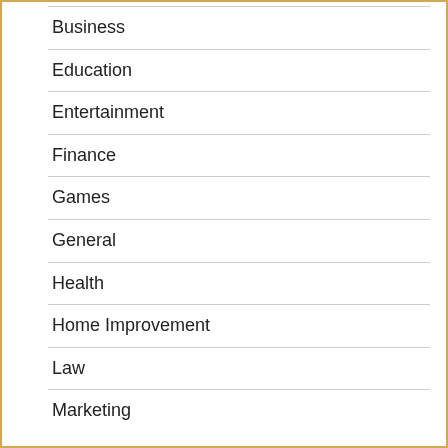Business
Education
Entertainment
Finance
Games
General
Health
Home Improvement
Law
Marketing